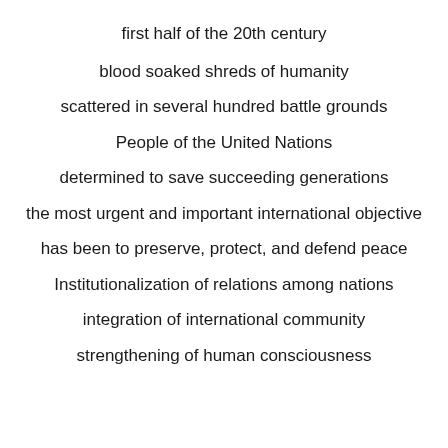first half of the 20th century
blood soaked shreds of humanity
scattered in several hundred battle grounds
People of the United Nations
determined to save succeeding generations
the most urgent and important international objective
has been to preserve, protect, and defend peace
Institutionalization of relations among nations
integration of international community
strengthening of human consciousness